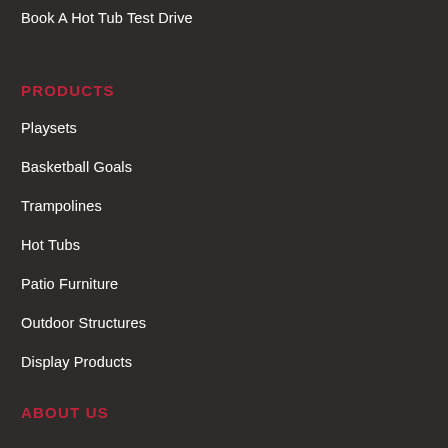Book A Hot Tub Test Drive
PRODUCTS
Playsets
Basketball Goals
Trampolines
Hot Tubs
Patio Furniture
Outdoor Structures
Display Products
ABOUT US